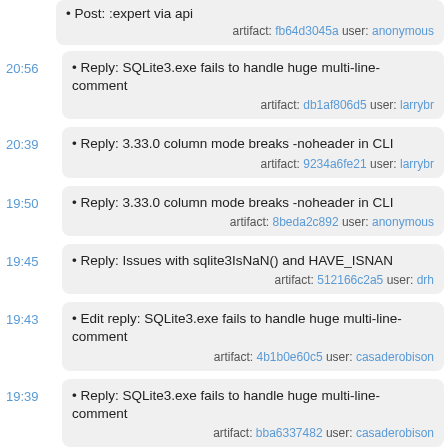• Post: :expert via api
artifact: fb64d3045a user: anonymous
20:56 • Reply: SQLite3.exe fails to handle huge multi-line-comment
artifact: db1af806d5 user: larrybr
20:39 • Reply: 3.33.0 column mode breaks -noheader in CLI
artifact: 9234a6fe21 user: larrybr
19:50 • Reply: 3.33.0 column mode breaks -noheader in CLI
artifact: 8beda2c892 user: anonymous
19:45 • Reply: Issues with sqlite3IsNaN() and HAVE_ISNAN
artifact: 512166c2a5 user: drh
19:43 • Edit reply: SQLite3.exe fails to handle huge multi-line-comment
artifact: 4b1b0e60c5 user: casaderobison
19:39 • Reply: SQLite3.exe fails to handle huge multi-line-comment
artifact: bba6337482 user: casaderobison